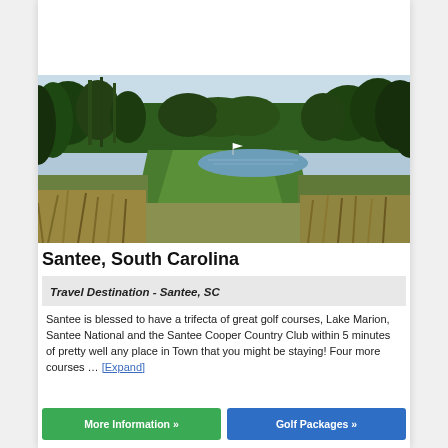[Figure (photo): Aerial view of a golf course in Santee, South Carolina with trees, pond, and green fairway]
Santee, South Carolina
Travel Destination - Santee, SC
Santee is blessed to have a trifecta of great golf courses, Lake Marion, Santee National and the Santee Cooper Country Club within 5 minutes of pretty well any place in Town that you might be staying! Four more courses … [Expand]
More Information »
Golf Packages »